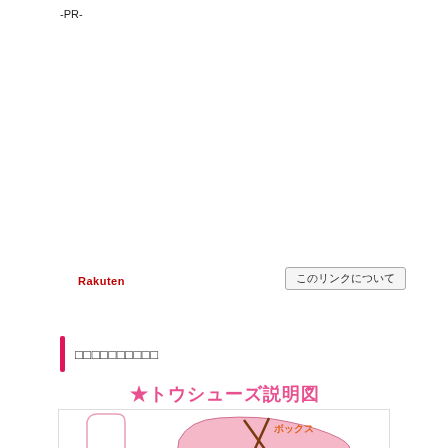-PR-
[Figure (logo): Rakuten logo in red text]
このリンクについて
□□□□□□□□□□
[Figure (illustration): Diagram of toe shoes (トウシューズ説明図) showing a ballet shoe outline on the left with label ワイズ（幅） and a shoe side view on the right with label ボックス]